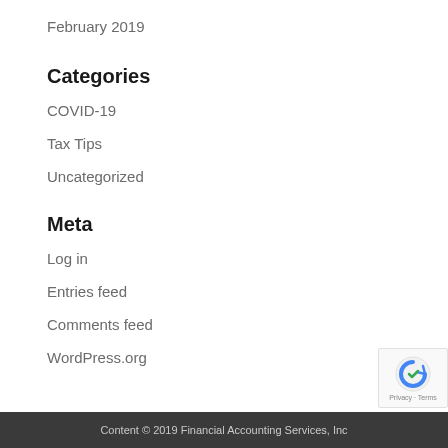February 2019
Categories
COVID-19
Tax Tips
Uncategorized
Meta
Log in
Entries feed
Comments feed
WordPress.org
Content © 2019 Financial Accounting Services, Inc